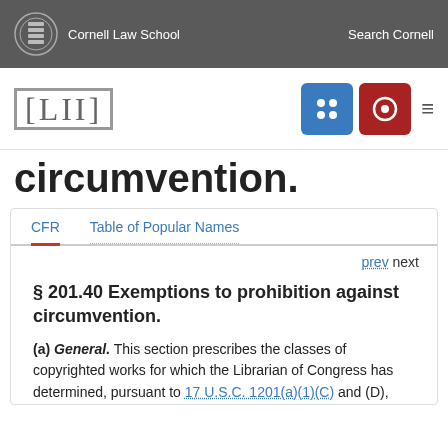Cornell Law School | Search Cornell
[Figure (logo): LII Legal Information Institute logo with navigation icons]
circumvention.
CFR | Table of Popular Names
prev next
§ 201.40 Exemptions to prohibition against circumvention.
(a) General. This section prescribes the classes of copyrighted works for which the Librarian of Congress has determined, pursuant to 17 U.S.C. 1201(a)(1)(C) and (D),